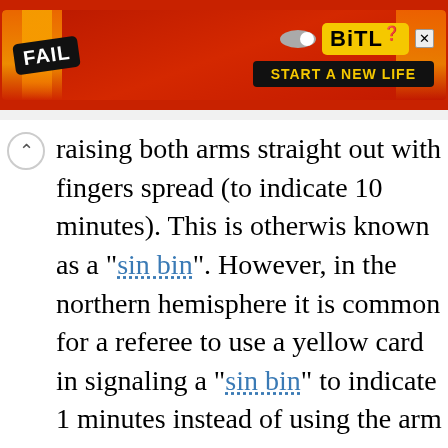[Figure (other): BitLife advertisement banner with 'FAIL' text, cartoon character, and 'START A NEW LIFE' tagline on red background]
raising both arms straight out with fingers spread (to indicate 10 minutes). This is otherwise known as a "sin bin". However, in the northern hemisphere it is common for a referee to use a yellow card in signaling a "sin bin" to indicate 10 minutes instead of using the arm and hand signs used in the southern hemisphere. It is possible for a player to receive seven yellow cards without receiving a red card (a player who receives eight yellow cards in a match will receive a red card, which results in ejection from the match).